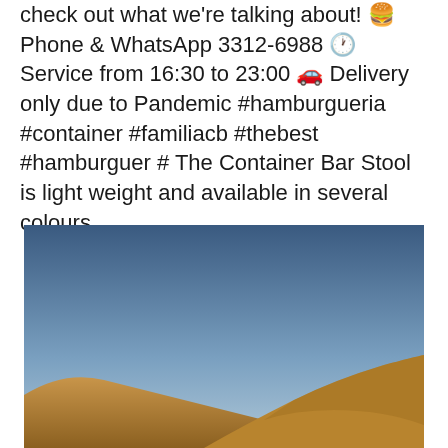check out what we're talking about! 🍔 Phone & WhatsApp 3312-6988 🕐 Service from 16:30 to 23:00 🚗 Delivery only due to Pandemic #hamburgueria #container #familiacb #thebest #hamburguer # The Container Bar Stool is light weight and available in several colours.
[Figure (photo): Outdoor landscape photo showing sandy/earthy hills under a blue sky, cropped so the sky occupies the upper portion and the hills appear at the bottom right corner.]